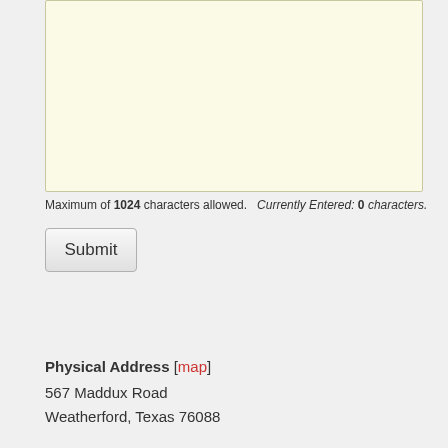[Figure (screenshot): Empty textarea input field with light yellow background for text entry]
Maximum of 1024 characters allowed.  Currently Entered: 0 characters.
Submit
Physical Address [map]
567 Maddux Road
Weatherford, Texas 76088